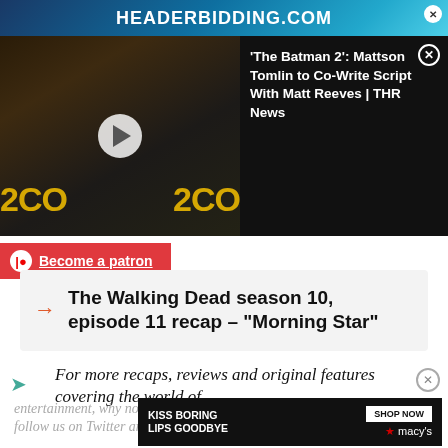[Figure (screenshot): HEADERBIDDING.COM advertisement banner at top of page]
[Figure (screenshot): Video thumbnail of bearded man at Comic-Con panel with play button overlay]
[Figure (screenshot): THR News article preview: 'The Batman 2': Mattson Tomlin to Co-Write Script With Matt Reeves | THR News]
[Figure (screenshot): Patreon 'Become a patron' button in red]
The Walking Dead season 10, episode 11 recap – "Morning Star"
For more recaps, reviews and original features covering the world of
entertainment, why not follow us on Twitter and
[Figure (screenshot): Macy's 'Kiss Boring Lips Goodbye' advertisement with Shop Now button]